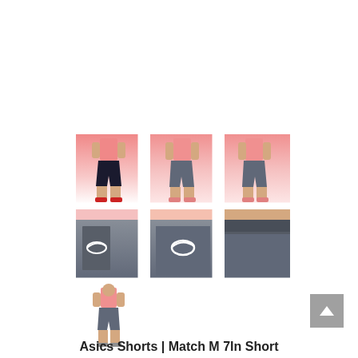[Figure (photo): Grid of 7 product photos of Asics Match M 7In Short grey athletic shorts. Row 1: 3 full-body shots of a male model wearing grey shorts and a pink/coral top. Row 2: 3 close-up detail shots of the grey shorts showing the ASICS logo embroidery and waistband. Row 3: 1 full-body shot of a male model from further distance wearing grey shorts and coral shirt.]
Asics Shorts | Match M 7In Short